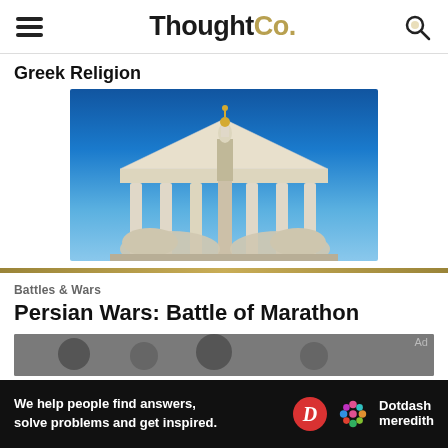ThoughtCo.
Greek Religion
[Figure (photo): Greek classical building facade with large statue of Athena on a column, flanked by reclining figures, against a bright blue sky]
Battles & Wars
Persian Wars: Battle of Marathon
[Figure (photo): Partial photo of battle or historical scene, partially obscured by advertisement bar]
We help people find answers, solve problems and get inspired.